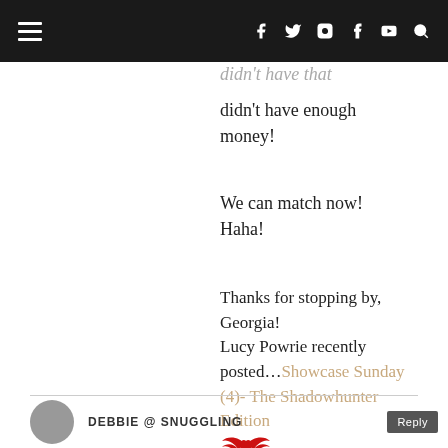Navigation bar with hamburger menu, social icons (Facebook, Twitter, Instagram, Tumblr, YouTube) and search icon
didn't have enough money!
We can match now! Haha!
Thanks for stopping by, Georgia!
Lucy Powrie recently posted…Showcase Sunday (4)- The Shadowhunter Edition
[Figure (illustration): Red winged heart / wings emoji icon]
DEBBIE @ SNUGGLING